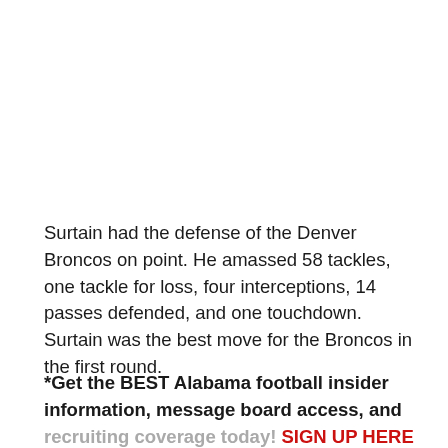Surtain had the defense of the Denver Broncos on point. He amassed 58 tackles, one tackle for loss, four interceptions, 14 passes defended, and one touchdown. Surtain was the best move for the Broncos in the first round.
*Get the BEST Alabama football insider information, message board access, and recruiting coverage today! SIGN UP HERE to unlock our subscriber-only content!*